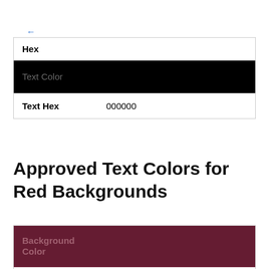← Color
| Hex |
| --- |
| Text Color |
| Text Hex | 000000 |
Approved Text Colors for Red Backgrounds
| Background Color |
| --- |
| Background Hex | 651c32 |